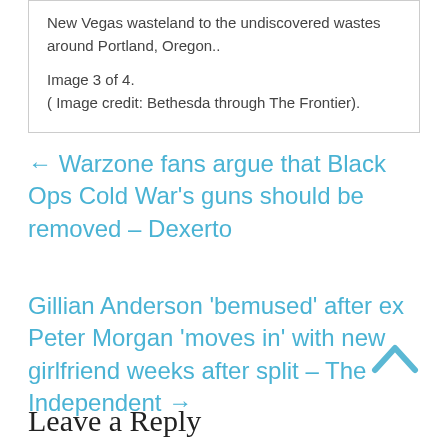New Vegas wasteland to the undiscovered wastes around Portland, Oregon..
Image 3 of 4.
( Image credit: Bethesda through The Frontier).
← Warzone fans argue that Black Ops Cold War's guns should be removed – Dexerto
Gillian Anderson 'bemused' after ex Peter Morgan 'moves in' with new girlfriend weeks after split – The Independent →
Leave a Reply